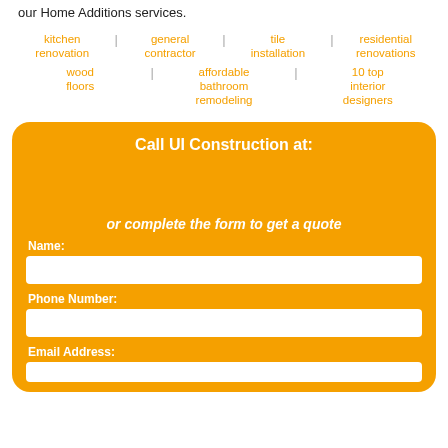our Home Additions services.
kitchen renovation | general contractor | tile installation | residential renovations
wood floors | affordable bathroom remodeling | 10 top interior designers
Call UI Construction at:
or complete the form to get a quote
Name:
Phone Number:
Email Address: